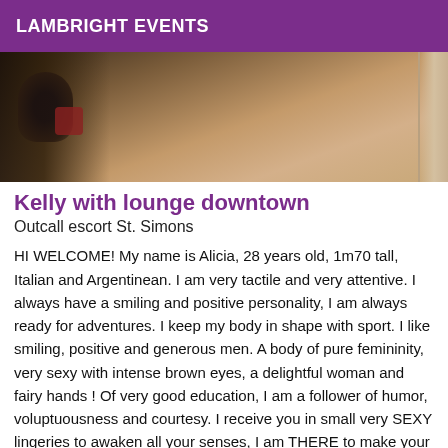LAMBRIGHT EVENTS
[Figure (photo): Partial cropped photo showing a person's back/torso area against a beige/gold background with a decorative frame on the right side. Dark objects visible on the left.]
Kelly with lounge downtown
Outcall escort St. Simons
HI WELCOME! My name is Alicia, 28 years old, 1m70 tall, Italian and Argentinean. I am very tactile and very attentive. I always have a smiling and positive personality, I am always ready for adventures. I keep my body in shape with sport. I like smiling, positive and generous men. A body of pure femininity, very sexy with intense brown eyes, a delightful woman and fairy hands ! Of very good education, I am a follower of humor, voluptuousness and courtesy. I receive you in small very SEXY lingeries to awaken all your senses, I am THERE to make your most intense dreams come true ! I do not